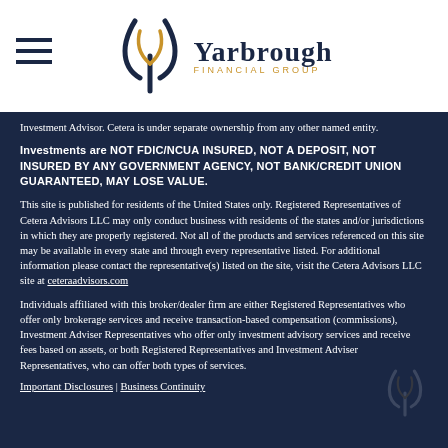[Figure (logo): Yarbrough Financial Group logo with stylized Y icon in navy and gold, company name in navy serif font, FINANCIAL GROUP in gold small caps]
Investment Advisor. Cetera is under separate ownership from any other named entity.
Investments are NOT FDIC/NCUA INSURED, NOT A DEPOSIT, NOT INSURED BY ANY GOVERNMENT AGENCY, NOT BANK/CREDIT UNION GUARANTEED, MAY LOSE VALUE.
This site is published for residents of the United States only. Registered Representatives of Cetera Advisors LLC may only conduct business with residents of the states and/or jurisdictions in which they are properly registered. Not all of the products and services referenced on this site may be available in every state and through every representative listed. For additional information please contact the representative(s) listed on the site, visit the Cetera Advisors LLC site at ceteraadvisors.com
Individuals affiliated with this broker/dealer firm are either Registered Representatives who offer only brokerage services and receive transaction-based compensation (commissions), Investment Adviser Representatives who offer only investment advisory services and receive fees based on assets, or both Registered Representatives and Investment Adviser Representatives, who can offer both types of services.
Important Disclosures | Business Continuity